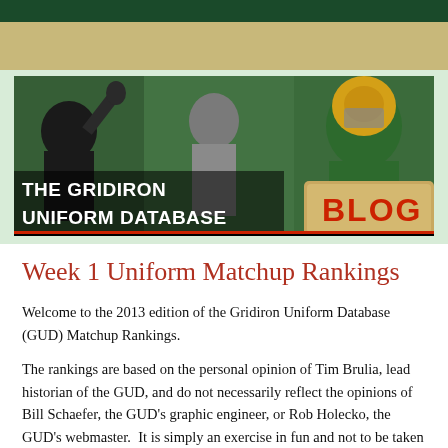[Figure (illustration): The Gridiron Uniform Database Blog banner header featuring football players in various uniforms with the text 'THE GRIDIRON UNIFORM DATABASE' on the left and 'BLOG' on the right in red lettering on a tan scroll background.]
Week 1 Uniform Matchup Rankings
Welcome to the 2013 edition of the Gridiron Uniform Database (GUD) Matchup Rankings.
The rankings are based on the personal opinion of Tim Brulia, lead historian of the GUD, and do not necessarily reflect the opinions of Bill Schaefer, the GUD's graphic engineer, or Rob Holecko, the GUD's webmaster.  It is simply an exercise in fun and not to be taken too seriously.